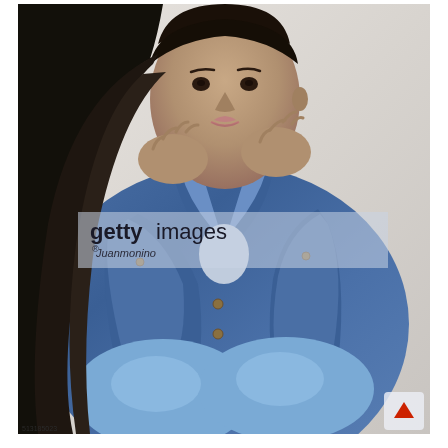[Figure (photo): A young woman with long dark hair wearing a denim jacket and jeans, sitting with her knees up and hands raised near her face, looking at the camera. Photo has a Getty Images watermark with photographer name Juanmonino and stock number 513185023.]